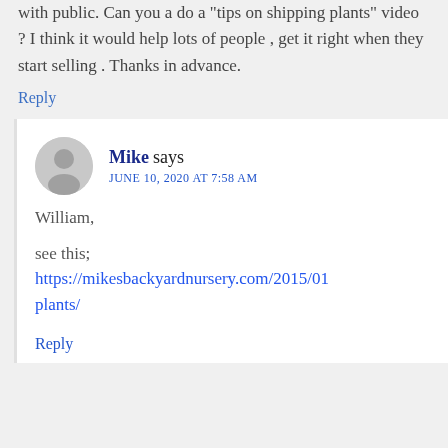with public. Can you a do a "tips on shipping plants" video ? I think it would help lots of people , get it right when they start selling . Thanks in advance.
Reply
Mike says
JUNE 10, 2020 AT 7:58 AM
William,
see this;
https://mikesbackyardnursery.com/2015/01/plants/
Reply